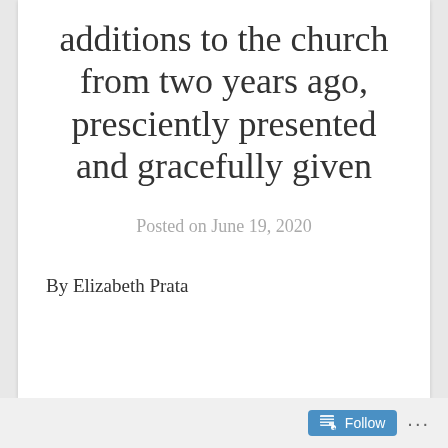additions to the church from two years ago, presciently presented and gracefully given
Posted on June 19, 2020
By Elizabeth Prata